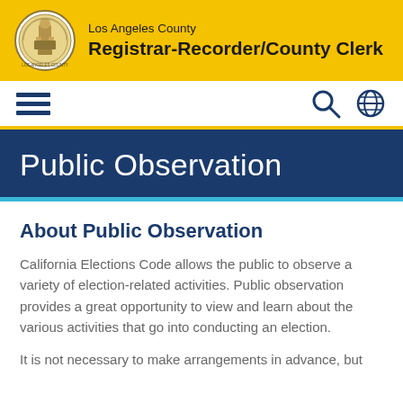Los Angeles County Registrar-Recorder/County Clerk
[Figure (logo): Los Angeles County official seal, circular with figure and text around border]
[Figure (infographic): Navigation bar with hamburger menu icon (three horizontal lines), search icon (magnifying glass), and globe/language icon]
Public Observation
About Public Observation
California Elections Code allows the public to observe a variety of election-related activities. Public observation provides a great opportunity to view and learn about the various activities that go into conducting an election.
It is not necessary to make arrangements in advance, but